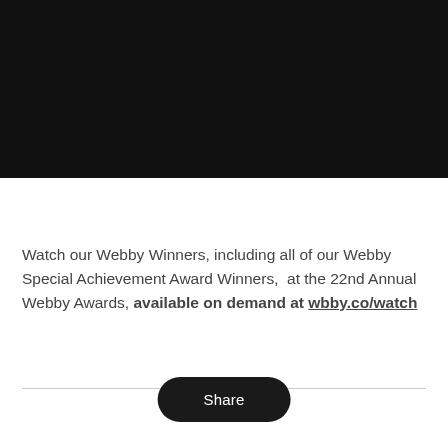[Figure (photo): Black video player or dark image area occupying the top portion of the page]
Watch our Webby Winners, including all of our Webby Special Achievement Award Winners,  at the 22nd Annual Webby Awards, available on demand at wbby.co/watch
Share